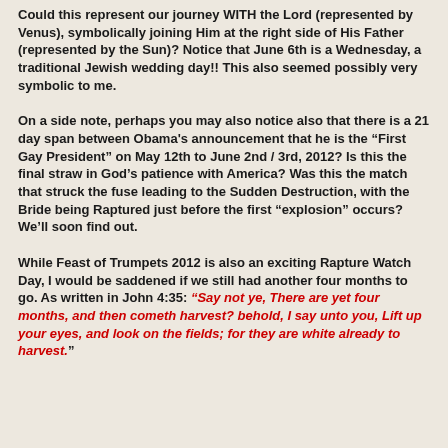Could this represent our journey WITH the Lord (represented by Venus), symbolically joining Him at the right side of His Father (represented by the Sun)? Notice that June 6th is a Wednesday, a traditional Jewish wedding day!! This also seemed possibly very symbolic to me.
On a side note, perhaps you may also notice also that there is a 21 day span between Obama’s announcement that he is the “First Gay President” on May 12th to June 2nd / 3rd, 2012? Is this the final straw in God’s patience with America? Was this the match that struck the fuse leading to the Sudden Destruction, with the Bride being Raptured just before the first “explosion” occurs? We’ll soon find out.
While Feast of Trumpets 2012 is also an exciting Rapture Watch Day, I would be saddened if we still had another four months to go. As written in John 4:35: “Say not ye, There are yet four months, and then cometh harvest? behold, I say unto you, Lift up your eyes, and look on the fields; for they are white already to harvest.”